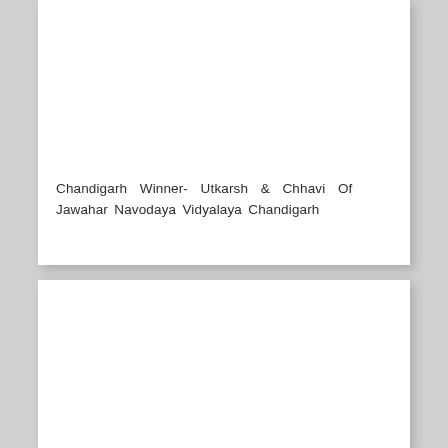[Figure (photo): Top white card/panel with a photo area (white/blank upper portion)]
Chandigarh Winner- Utkarsh & Chhavi Of Jawahar Navodaya Vidyalaya Chandigarh
[Figure (photo): Bottom white card/panel with a photo area (white/blank)]